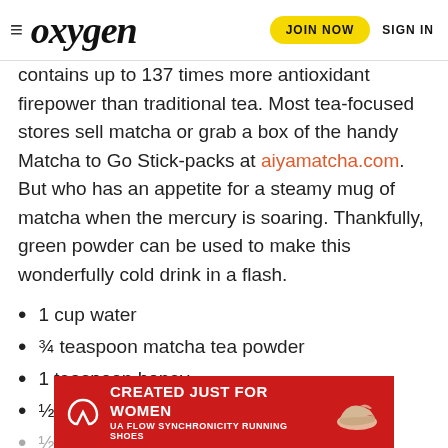oxygen | JOIN NOW | SIGN IN
contains up to 137 times more antioxidant firepower than traditional tea. Most tea-focused stores sell matcha or grab a box of the handy Matcha to Go Stick-packs at aiyamatcha.com. But who has an appetite for a steamy mug of matcha when the mercury is soaring. Thankfully, green powder can be used to make this wonderfully cold drink in a flash.
1 cup water
¾ teaspoon matcha tea powder
1 teaspoon honey
½ teaspoon fresh ginger
½ c… (partially hidden by ad)
[Figure (infographic): Under Armour ad banner: red background, UA logo, text 'CREATED JUST FOR WOMEN / UA FLOW SYNCHRONICITY RUNNING SHOES', image of running shoe]